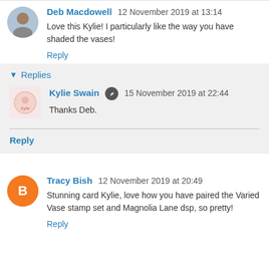Deb Macdowell 12 November 2019 at 13:14
Love this Kylie! I particularly like the way you have shaded the vases!
Reply
Replies
Kylie Swain 15 November 2019 at 22:44
Thanks Deb.
Reply
Tracy Bish 12 November 2019 at 20:49
Stunning card Kylie, love how you have paired the Varied Vase stamp set and Magnolia Lane dsp, so pretty!
Reply